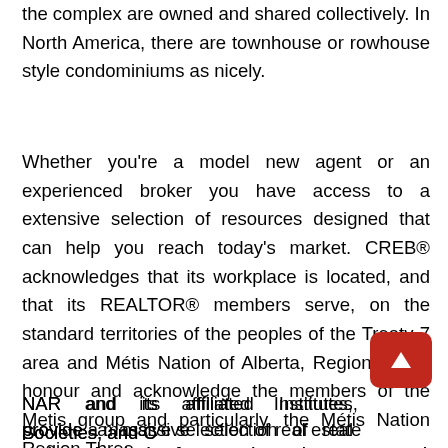the complex are owned and shared collectively. In North America, there are townhouse or rowhouse style condominiums as nicely.
Whether you're a model new agent or an experienced broker you have access to a extensive selection of resources designed that can help you reach today's market. CREB® acknowledges that its workplace is located, and that its REALTOR® members serve, on the standard territories of the peoples of the Treaty 7 area and Métis Nation of Alberta, Region 3. We honour and acknowledge the members of the Metis group and particularly, the Métis Nation Region Three.
NAR and its affiliated Institutes, Societies, and Councils provide a massive selection of real estate training options. Analysis of economic market sectors and